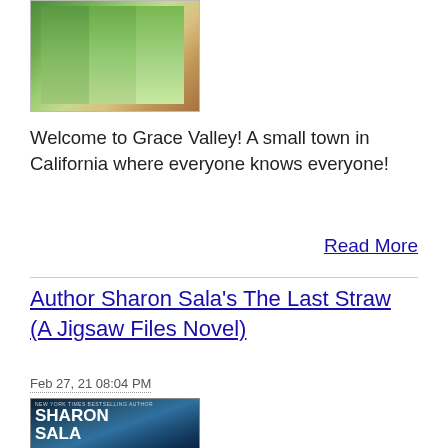[Figure (photo): Book cover image at top of page showing a box set with green and outdoor nature imagery]
Welcome to Grace Valley! A small town in California where everyone knows everyone!
Read More
Author Sharon Sala's The Last Straw (A Jigsaw Files Novel)
Feb 27, 21 08:04 PM
[Figure (photo): Book cover of The Last Straw by Sharon Sala - New York Times Bestselling Author, showing a dark teal/blue cover with a face silhouette and the title in large letters]